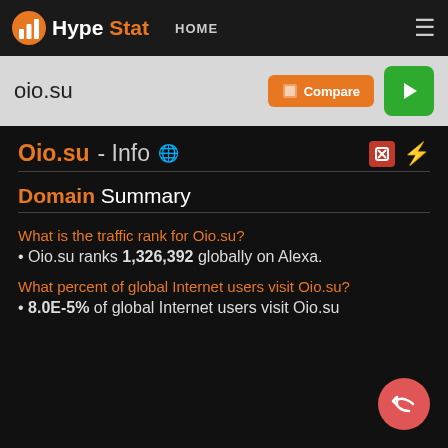HypeStat HOME
oio.su
Oio.su - Info
Domain Summary
What is the traffic rank for Oio.su?
Oio.su ranks 1,326,392 globally on Alexa.
What percent of global Internet users visit Oio.su?
8.0E-5% of global Internet users visit Oio.su